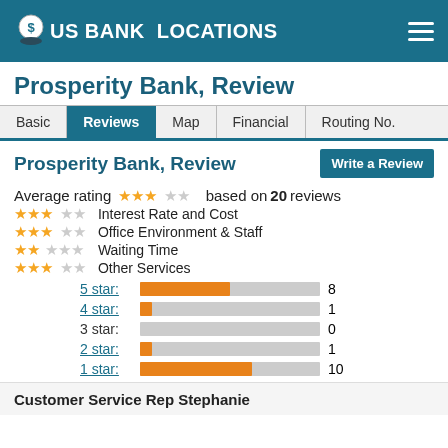US BANK LOCATIONS
Prosperity Bank, Review
| Basic | Reviews | Map | Financial | Routing No. |
| --- | --- | --- | --- | --- |
Prosperity Bank, Review
Average rating ★★★☆☆ based on 20 reviews
★★★☆☆ Interest Rate and Cost
★★★☆☆ Office Environment & Staff
★★☆☆☆ Waiting Time
★★★☆☆ Other Services
[Figure (bar-chart): Star rating distribution]
Customer Service Rep Stephanie